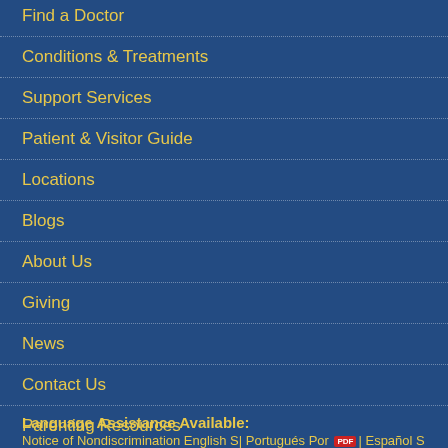Find a Doctor
Conditions & Treatments
Support Services
Patient & Visitor Guide
Locations
Blogs
About Us
Giving
News
Contact Us
Parenting Resources
Language Assistance Available:
Notice of Nondiscrimination English S| Portugués Por PDF| Español S